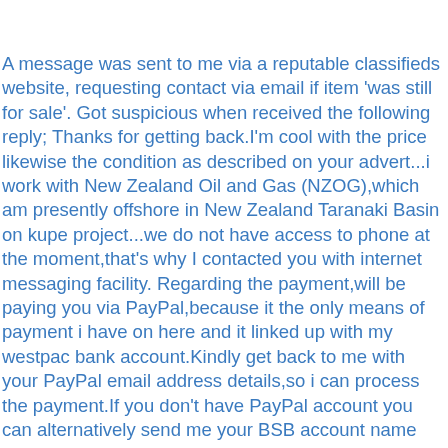A message was sent to me via a reputable classifieds website, requesting contact via email if item 'was still for sale'. Got suspicious when received the following reply; Thanks for getting back.I'm cool with the price likewise the condition as described on your advert...i work with New Zealand Oil and Gas (NZOG),which am presently offshore in New Zealand Taranaki Basin on kupe project...we do not have access to phone at the moment,that's why I contacted you with internet messaging facility. Regarding the payment,will be paying you via PayPal,because it the only means of payment i have on here and it linked up with my westpac bank account.Kindly get back to me with your PayPal email address details,so i can process the payment.If you don't have PayPal account you can alternatively send me your BSB account name and number can also do a wire bank transfer from my PayPal account.